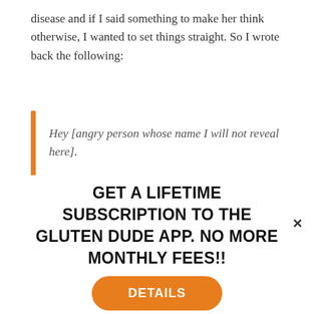disease and if I said something to make her think otherwise, I wanted to set things straight. So I wrote back the following:
Hey [angry person whose name I will not reveal here].

I appreciate your directness. But you have me all wrong. I have stated over and over and over again throughout my blog that I put those with
[Figure (illustration): Orange eight-pointed star/asterisk decorative divider icon]
GET A LIFETIME SUBSCRIPTION TO THE GLUTEN DUDE APP. NO MORE MONTHLY FEES!!
DETAILS